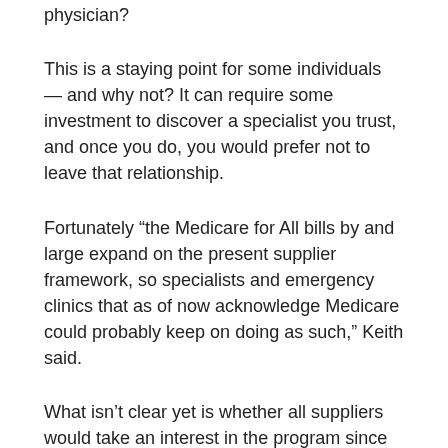physician?
This is a staying point for some individuals — and why not? It can require some investment to discover a specialist you trust, and once you do, you would prefer not to leave that relationship.
Fortunately “the Medicare for All bills by and large expand on the present supplier framework, so specialists and emergency clinics that as of now acknowledge Medicare could probably keep on doing as such,” Keith said.
What isn’t clear yet is whether all suppliers would take an interest in the program since they as of now won’t be required to do as such.
“The bills incorporate a ‘private compensation’ alternative where suppliers and people could think of their plan to pay